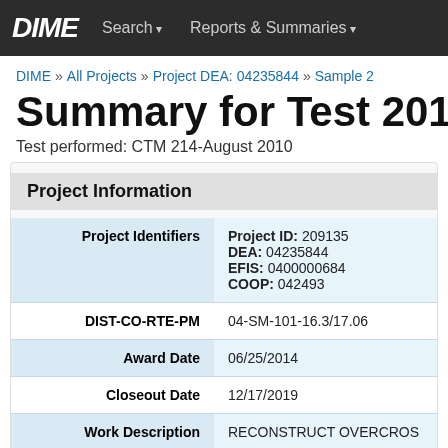DIME  Search ▾  Reports & Summaries ▾
DIME » All Projects » Project DEA: 04235844 » Sample 2
Summary for Test 2016
Test performed: CTM 214-August 2010
Project Information
| Field | Value |
| --- | --- |
| Project Identifiers | Project ID: 209135
DEA: 04235844
EFIS: 0400000684
COOP: 042493 |
| DIST-CO-RTE-PM | 04-SM-101-16.3/17.06 |
| Award Date | 06/25/2014 |
| Closeout Date | 12/17/2019 |
| Work Description | RECONSTRUCT OVERCROS |